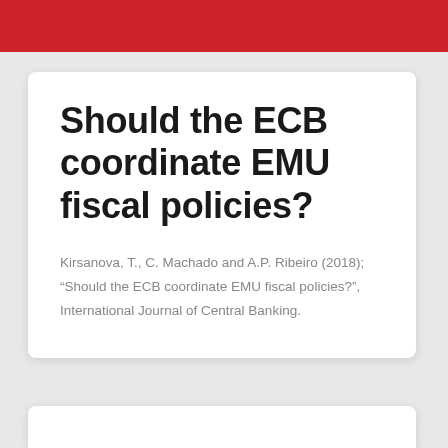Should the ECB coordinate EMU fiscal policies?
Kirsanova, T., C. Machado and A.P. Ribeiro (2018); “Should the ECB coordinate EMU fiscal policies?”, International Journal of Central Banking.